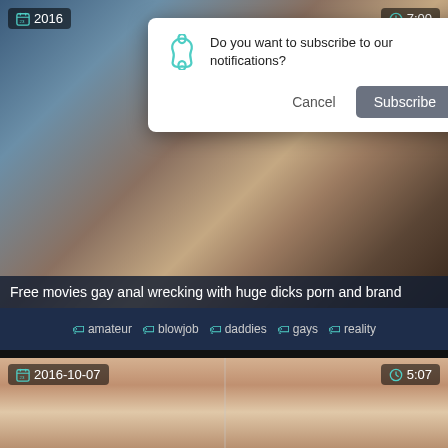[Figure (screenshot): Browser notification permission dialog overlaid on adult video website. Dialog reads: 'Do you want to subscribe to our notifications?' with Cancel and Subscribe buttons.]
Do you want to subscribe to our notifications?
Cancel
Subscribe
2016
7:00
Free movies gay anal wrecking with huge dicks porn and brand
amateur  blowjob  daddies  gays  reality
2016-10-07
5:07